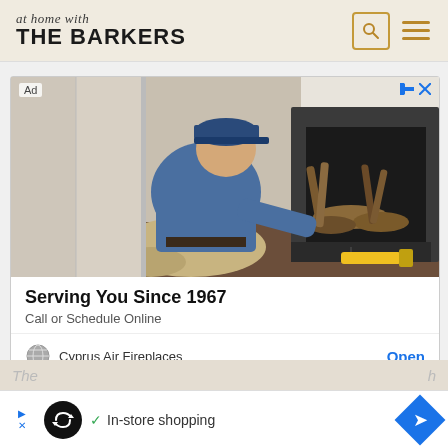at home with THE BARKERS
[Figure (screenshot): Advertisement for Cyprus Air Fireplaces showing a technician in a blue shirt and cap kneeling in front of an open fireplace insert with logs, working on it with tools. Text reads 'Serving You Since 1967 / Call or Schedule Online'. Advertiser: Cyprus Air Fireplaces with an Open button.]
Serving You Since 1967
Call or Schedule Online
Cyprus Air Fireplaces
Open
[Figure (screenshot): Bottom overlay advertisement bar with play/stop controls, a circular loop icon, checkmark, 'In-store shopping' text, and a blue navigation diamond arrow icon.]
In-store shopping